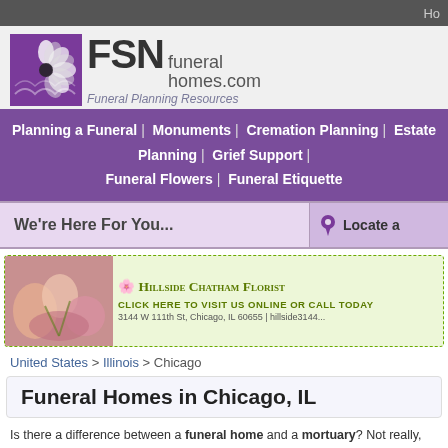Ho
[Figure (logo): FSN funeral homes.com logo with purple flower graphic]
Funeral Planning Resources
Planning a Funeral | Monuments | Cremation Planning | Estate Planning | Grief Support | Funeral Flowers | Funeral Etiquette
We're Here For You...
Locate a
[Figure (photo): Hillside Chatham Florist advertisement banner with flowers photo on left and text: HILLSIDE CHATHAM FLORIST, CLICK HERE TO VISIT US ONLINE or CALL TODAY, 3144 W 111th St, Chicago, IL 60655 | hillside3144...]
United States > Illinois > Chicago
Funeral Homes in Chicago, IL
Is there a difference between a funeral home and a mortuary? Not really, both coast the term funeral home is predominantly used, while on the West coast mo